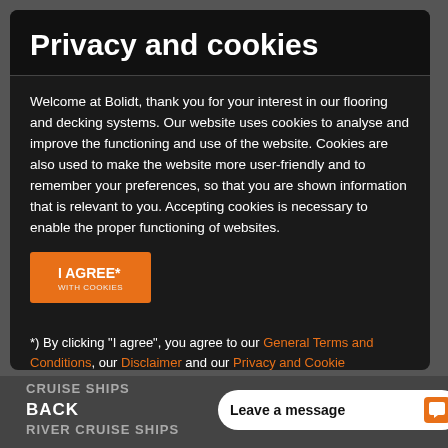Privacy and cookies
Welcome at Bolidt, thank you for your interest in our flooring and decking systems. Our website uses cookies to analyse and improve the functioning and use of the website. Cookies are also used to make the website more user-friendly and to remember your preferences, so that you are shown information that is relevant to you. Accepting cookies is necessary to enable the proper functioning of websites.
I AGREE*
*) By clicking "I agree", you agree to our General Terms and Conditions, our Disclaimer and our Privacy and Cookie Statement.